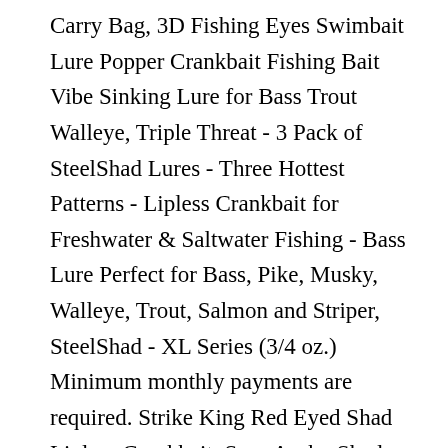Carry Bag, 3D Fishing Eyes Swimbait Lure Popper Crankbait Fishing Bait Vibe Sinking Lure for Bass Trout Walleye, Triple Threat - 3 Pack of SteelShad Lures - Three Hottest Patterns - Lipless Crankbait for Freshwater & Saltwater Fishing - Bass Lure Perfect for Bass, Pike, Musky, Walleye, Trout, Salmon and Striper, SteelShad - XL Series (3/4 oz.) Minimum monthly payments are required. Strike King Red Eyed Shad Lipless Crankbait. Spro Aruku Shad Lipless Crankbait. Your recently viewed items and featured recommendations, Select the department you want to search in, All customers get FREE Shipping on orders over $25 shipped by Amazon, Strike King KVD Deep Square Bill